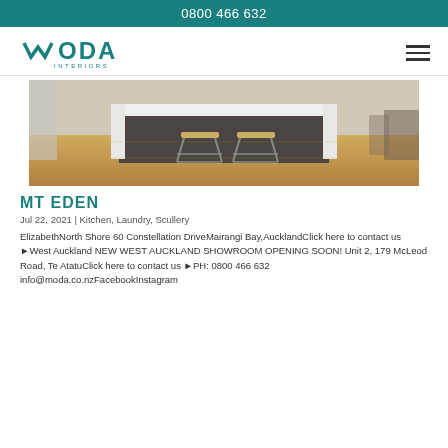0800 466 632
[Figure (logo): MODA Interiors logo with teal chevron M and INTERIORS text below]
[Figure (photo): Interior kitchen photo showing white island bench with two metal bar stools and timber flooring]
MT EDEN
Jul 22, 2021 | Kitchen, Laundry, Scullery
ElizabethNorth Shore 60 Constellation DriveMairangi Bay,AucklandClick here to contact us ▶West Auckland NEW WEST AUCKLAND SHOWROOM OPENING SOON! Unit 2, 179 McLeod Road, Te AtatuClick here to contact us ▶PH: 0800 466 632
info@moda.co.nzFacebookInstagram